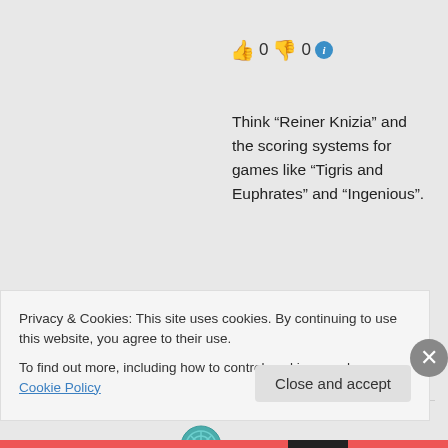👍 0 👎 0 ℹ
Think “Reiner Knizia” and the scoring systems for games like “Tigris and Euphrates” and “Ingenious”.
↳ Reply
pendog on April 3,
Privacy & Cookies: This site uses cookies. By continuing to use this website, you agree to their use.
To find out more, including how to control cookies, see here: Cookie Policy
Close and accept